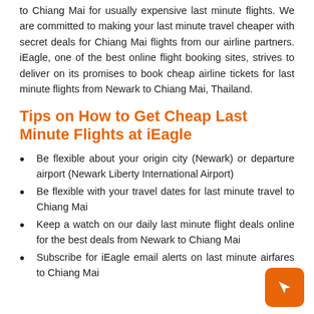to Chiang Mai for usually expensive last minute flights. We are committed to making your last minute travel cheaper with secret deals for Chiang Mai flights from our airline partners. iEagle, one of the best online flight booking sites, strives to deliver on its promises to book cheap airline tickets for last minute flights from Newark to Chiang Mai, Thailand.
Tips on How to Get Cheap Last Minute Flights at iEagle
Be flexible about your origin city (Newark) or departure airport (Newark Liberty International Airport)
Be flexible with your travel dates for last minute travel to Chiang Mai
Keep a watch on our daily last minute flight deals online for the best deals from Newark to Chiang Mai
Subscribe for iEagle email alerts on last minute airfares to Chiang Mai